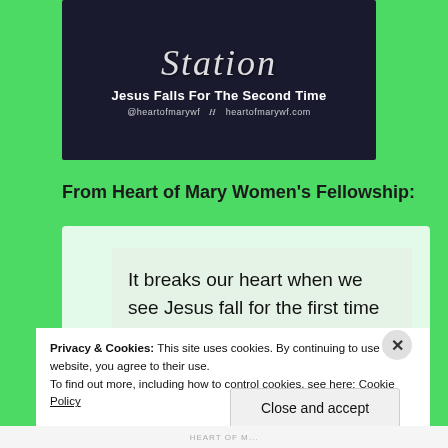[Figure (photo): Dark banner image with script title text 'Station' (partially visible), subtitle 'Jesus Falls For The Second Time', and website info '@heartofmarywf H heartofmarywf.com']
From Heart of Mary Women's Fellowship:
It breaks our heart when we see Jesus fall for the first time because his broken, beaten, battered body
Privacy & Cookies: This site uses cookies. By continuing to use this website, you agree to their use.
To find out more, including how to control cookies, see here: Cookie Policy
Close and accept